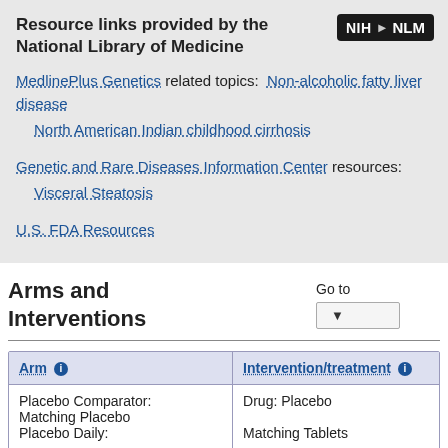Resource links provided by the National Library of Medicine
MedlinePlus Genetics related topics: Non-alcoholic fatty liver disease
North American Indian childhood cirrhosis
Genetic and Rare Diseases Information Center resources: Visceral Steatosis
U.S. FDA Resources
Arms and Interventions
Go to
| Arm | Intervention/treatment |
| --- | --- |
| Placebo Comparator:
Matching Placebo
Placebo Daily: | Drug: Placebo
Matching Tablets |